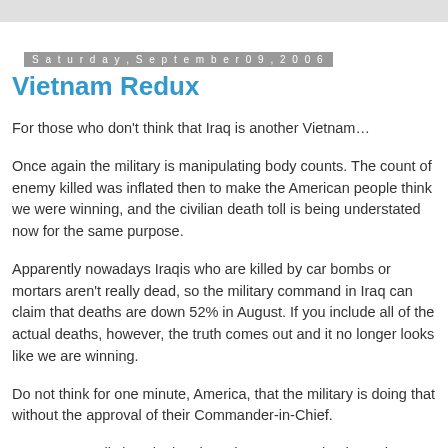Saturday, September 09, 2006
Vietnam Redux
For those who don't think that Iraq is another Vietnam…
Once again the military is manipulating body counts. The count of enemy killed was inflated then to make the American people think we were winning, and the civilian death toll is being understated now for the same purpose.
Apparently nowadays Iraqis who are killed by car bombs or mortars aren't really dead, so the military command in Iraq can claim that deaths are down 52% in August. If you include all of the actual deaths, however, the truth comes out and it no longer looks like we are winning.
Do not think for one minute, America, that the military is doing that without the approval of their Commander-in-Chief.
We may actually be winning, but when an assertion is made